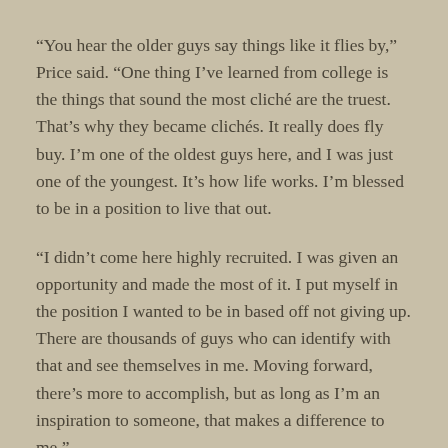“You hear the older guys say things like it flies by,” Price said. “One thing I’ve learned from college is the things that sound the most cliché are the truest. That’s why they became clichés. It really does fly buy. I’m one of the oldest guys here, and I was just one of the youngest. It’s how life works. I’m blessed to be in a position to live that out.
“I didn’t come here highly recruited. I was given an opportunity and made the most of it. I put myself in the position I wanted to be in based off not giving up. There are thousands of guys who can identify with that and see themselves in me. Moving forward, there’s more to accomplish, but as long as I’m an inspiration to someone, that makes a difference to me.”